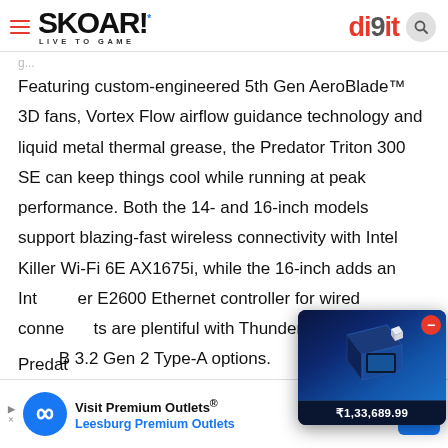SKOAR! LIVE TO GAME | digit
Featuring custom-engineered 5th Gen AeroBlade™ 3D fans, Vortex Flow airflow guidance technology and liquid metal thermal grease, the Predator Triton 300 SE can keep things cool while running at peak performance. Both the 14- and 16-inch models support blazing-fast wireless connectivity with Intel Killer Wi-Fi 6E AX1675i, while the 16-inch adds an Intel Killer E2600 Ethernet controller for wired connectivity. Ports are plentiful with Thunderbolt™ 4, HDMI and USB 3.2 Gen 2 Type-A options.
[Figure (other): Product widget showing a gaming laptop box with price ₹1,33,689.99]
[Figure (other): Advertisement banner: Visit Premium Outlets® Leesburg Premium Outlets]